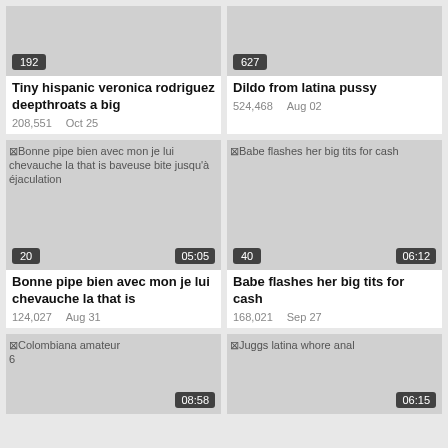[Figure (screenshot): Video thumbnail for Tiny hispanic veronica rodriguez deepthroats a big, count badge 192]
Tiny hispanic veronica rodriguez deepthroats a big
208,551   Oct 25
[Figure (screenshot): Video thumbnail for Dildo from latina pussy, count badge 627]
Dildo from latina pussy
524,468   Aug 02
[Figure (screenshot): Video thumbnail Bonne pipe bien avec mon je lui chevauche la that is baveuse bite jusqu'à éjaculation, duration 05:05, count badge 20]
Bonne pipe bien avec mon je lui chevauche la that is
124,027   Aug 31
[Figure (screenshot): Video thumbnail Babe flashes her big tits for cash, duration 06:12, count badge 40]
Babe flashes her big tits for cash
168,021   Sep 27
[Figure (screenshot): Video thumbnail Colombiana amateur, duration 08:58, count badge 6]
[Figure (screenshot): Video thumbnail Juggs latina whore anal, duration 06:15]